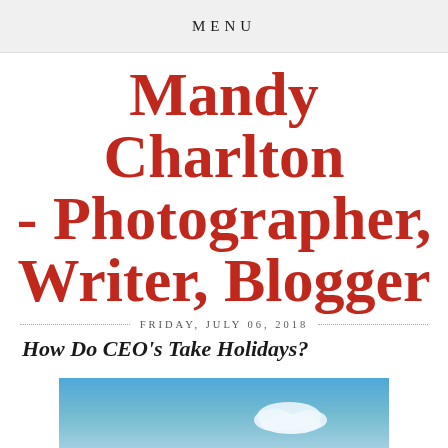MENU
Mandy Charlton - Photographer, Writer, Blogger
FRIDAY, JULY 06, 2018
How Do CEO's Take Holidays?
[Figure (photo): Blue sky with white clouds, partial view at the bottom of the page]